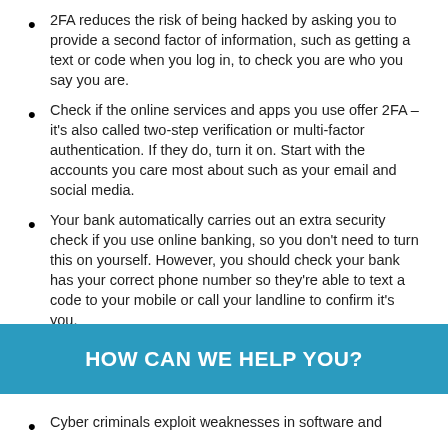2FA reduces the risk of being hacked by asking you to provide a second factor of information, such as getting a text or code when you log in, to check you are who you say you are.
Check if the online services and apps you use offer 2FA – it's also called two-step verification or multi-factor authentication. If they do, turn it on. Start with the accounts you care most about such as your email and social media.
Your bank automatically carries out an extra security check if you use online banking, so you don't need to turn this on yourself. However, you should check your bank has your correct phone number so they're able to text a code to your mobile or call your landline to confirm it's you.
HOW CAN WE HELP YOU?
Cyber criminals exploit weaknesses in software and